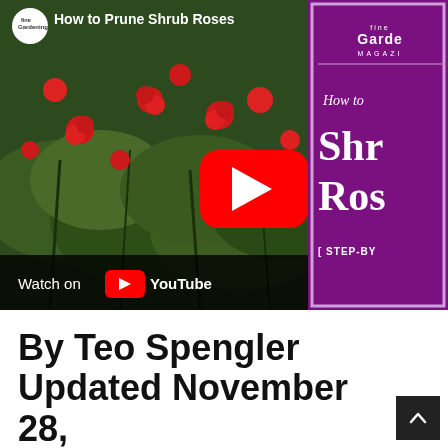[Figure (screenshot): YouTube video thumbnail for 'How to Prune Shrub Roses' by Fine Gardening, showing a rose bush with red blooms, a YouTube play button, a 'Watch on YouTube' bar at the bottom, and a purple Fine Gardening magazine panel on the right with text 'How to Shr Ros [ STEP-BY']
By Teo Spengler Updated November 28,